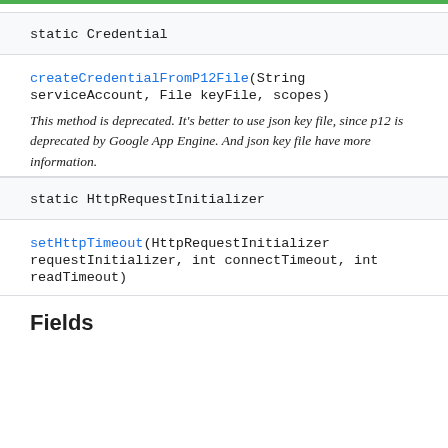static Credential
createCredentialFromP12File(String serviceAccount, File keyFile, scopes)
This method is deprecated. It's better to use json key file, since p12 is deprecated by Google App Engine. And json key file have more information.
static HttpRequestInitializer
setHttpTimeout(HttpRequestInitializer requestInitializer, int connectTimeout, int readTimeout)
Fields